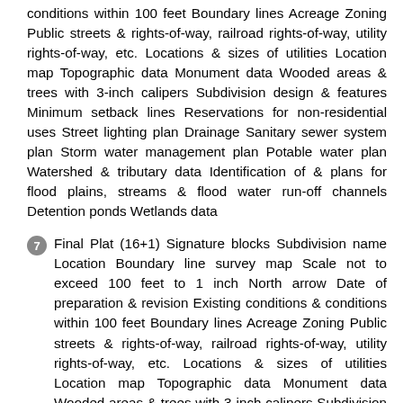conditions within 100 feet Boundary lines Acreage Zoning Public streets & rights-of-way, railroad rights-of-way, utility rights-of-way, etc. Locations & sizes of utilities Location map Topographic data Monument data Wooded areas & trees with 3-inch calipers Subdivision design & features Minimum setback lines Reservations for non-residential uses Street lighting plan Drainage Sanitary sewer system plan Storm water management plan Potable water plan Watershed & tributary data Identification of & plans for flood plains, streams & flood water run-off channels Detention ponds Wetlands data
7  Final Plat (16+1) Signature blocks Subdivision name Location Boundary line survey map Scale not to exceed 100 feet to 1 inch North arrow Date of preparation & revision Existing conditions & conditions within 100 feet Boundary lines Acreage Zoning Public streets & rights-of-way, railroad rights-of-way, utility rights-of-way, etc. Locations & sizes of utilities Location map Topographic data Monument data Wooded areas & trees with 3-inch calipers Subdivision design & features Compliance with Comprehensive Plan Street lay-outs & names Locations & widths of pedestrian ways, utility easements & drainage